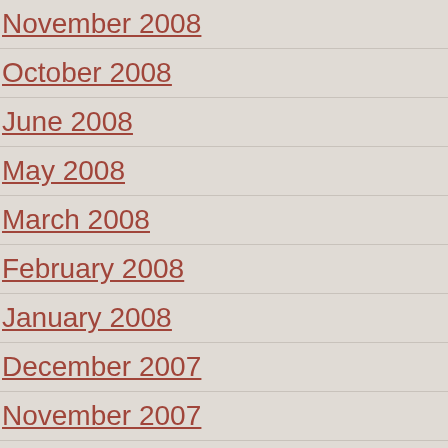November 2008
October 2008
June 2008
May 2008
March 2008
February 2008
January 2008
December 2007
November 2007
October 2007